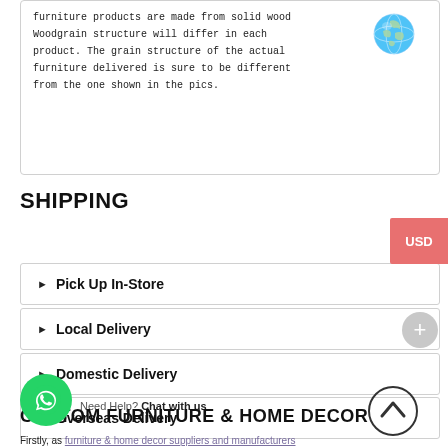furniture products are made from solid wood Woodgrain structure will differ in each product. The grain structure of the actual furniture delivered is sure to be different from the one shown in the pics.
[Figure (illustration): Globe emoji icon (earth with blue water and land continents)]
SHIPPING
► Pick Up In-Store
► Local Delivery
► Domestic Delivery
► Overseas Delivery
CUSTOM FURNITURE & HOME DECOR
Firstly, as furniture & home decor suppliers and manufacturers